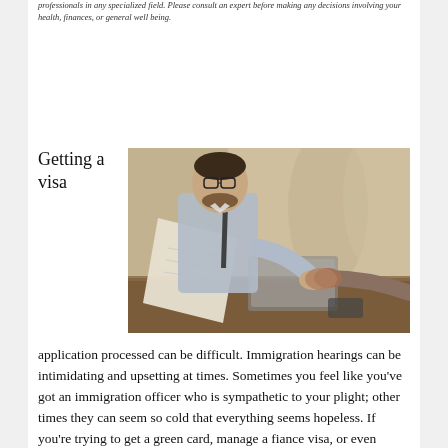professionals in any specialized field. Please consult an expert before making any decisions involving your health, finances, or general well being.
Getting a visa
[Figure (photo): A businessman with glasses and a tie shaking hands with another person across a desk, with documents and a laptop visible, in a restaurant or café setting.]
application processed can be difficult. Immigration hearings can be intimidating and upsetting at times. Sometimes you feel like you've got an immigration officer who is sympathetic to your plight; other times they can seem so cold that everything seems hopeless. If you're trying to get a green card, manage a fiance visa, or even applying for citizenship in the